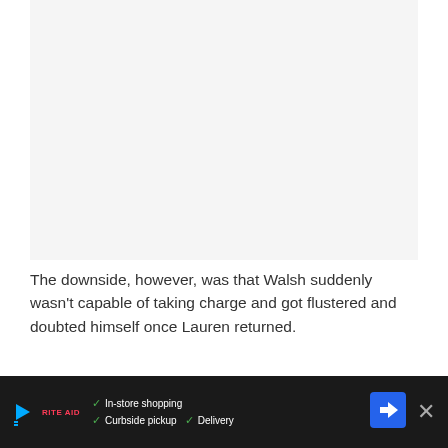[Figure (other): Blank light gray image placeholder area at the top of the page]
The downside, however, was that Walsh suddenly wasn't capable of taking charge and got flustered and doubted himself once Lauren returned.
I didn't make this personal, Max. You
[Figure (other): Advertisement bar at bottom: dark background with play button, brand logo (Rite Aid), checkmarks for In-store shopping, Curbside pickup, Delivery, navigation icon, and close X button]